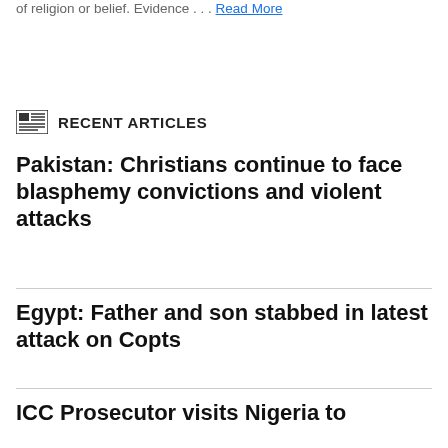of religion or belief. Evidence . . . Read More
RECENT ARTICLES
Pakistan: Christians continue to face blasphemy convictions and violent attacks
Egypt: Father and son stabbed in latest attack on Copts
ICC Prosecutor visits Nigeria to